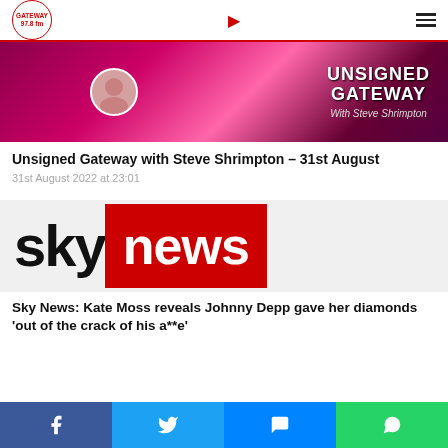Gateway 97.8 fm
[Figure (illustration): Unsigned Gateway with Steve Shrimpton banner — magenta-toned music/drums background with host avatar and show title text]
Unsigned Gateway with Steve Shrimpton – 31st August
31st August 2022 at 23:01
[Figure (logo): Sky News logo — black 'sky' text on white background and white 'news' text on red background]
Sky News: Kate Moss reveals Johnny Depp gave her diamonds 'out of the crack of his a**e'